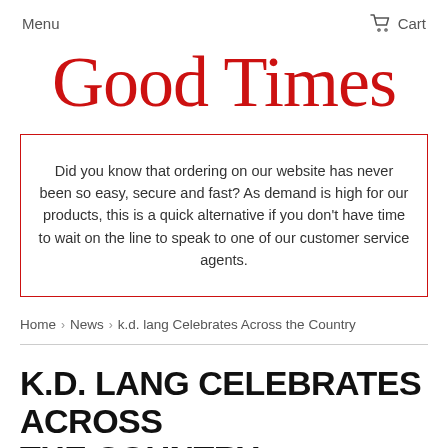Menu   Cart
Good Times
Did you know that ordering on our website has never been so easy, secure and fast? As demand is high for our products, this is a quick alternative if you don't have time to wait on the line to speak to one of our customer service agents.
Home › News › k.d. lang Celebrates Across the Country
K.D. LANG CELEBRATES ACROSS THE COUNTRY